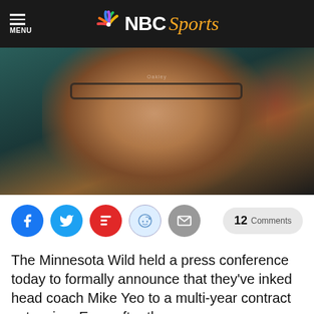NBC Sports
[Figure (photo): Close-up portrait of a man wearing glasses and a suit, likely a hockey coach, at a Minnesota Wild press conference backdrop]
12 Comments
The Minnesota Wild held a press conference today to formally announce that they've inked head coach Mike Yeo to a multi-year contract extension. Even after three